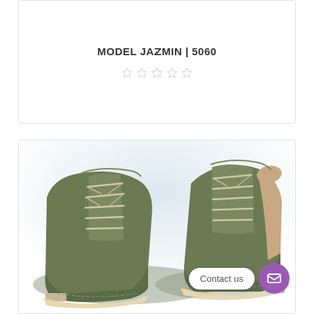MODEL JAZMIN | 5060
[Figure (photo): Two olive green suede lace-up ankle boots with cream/beige laces and a small heel, displayed side by side on a white background. A chat widget with 'Contact us' button and purple icon is overlaid on the bottom right.]